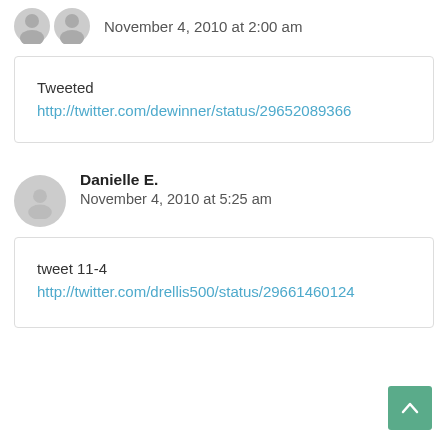November 4, 2010 at 2:00 am
Tweeted http://twitter.com/dewinner/status/29652089366
Danielle E.
November 4, 2010 at 5:25 am
tweet 11-4 http://twitter.com/drellis500/status/29661460124